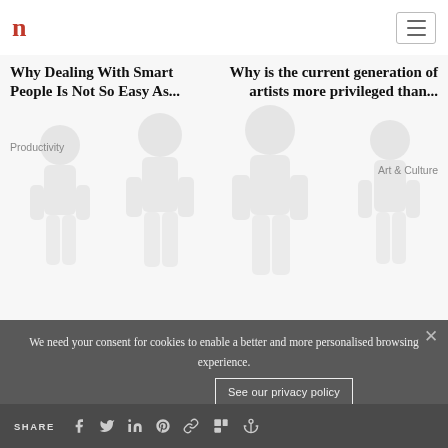[Figure (logo): Lowercase red letter n logo in top-left corner]
Why Dealing With Smart People Is Not So Easy As...
Productivity
Why is the current generation of artists more privileged than...
Art & Culture
[Figure (illustration): Faded background illustration of people in various poses]
connect with us and
stay updated
We need your consent for cookies to enable a better and more personalised browsing experience.
See our privacy policy
Accept all cookies
SHARE